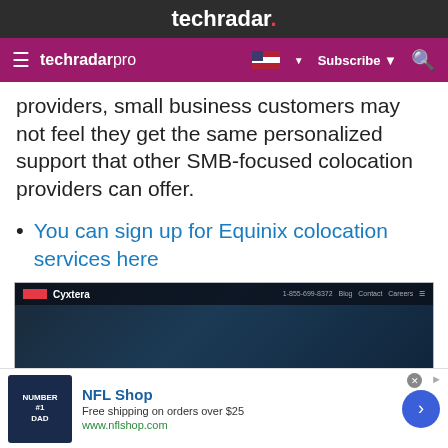techradar.
techradar pro  Subscribe
providers, small business customers may not feel they get the same personalized support that other SMB-focused colocation providers can offer.
You can sign up for Equinix colocation services here
[Figure (screenshot): Screenshot of Cyxtera website showing a colocation services page with dark data center imagery, text reading 'Colocation' and 'Shift your IT resources to focus on innovation while maintaining complete control over operations']
[Figure (infographic): Advertisement for NFL Shop with a Dallas Cowboys jersey image. Text: NFL Shop, Free shipping on orders over $25, www.nflshop.com]